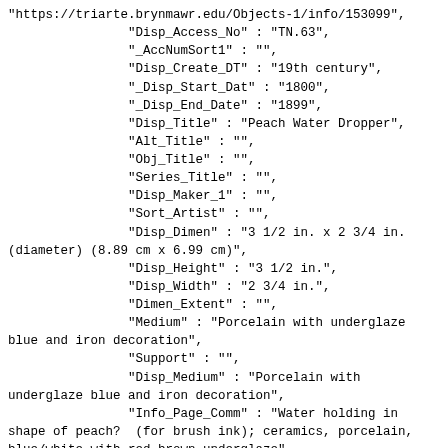"https://triarte.brynmawr.edu/Objects-1/info/153099",
                "Disp_Access_No" : "TN.63",
                "_AccNumSort1" : "",
                "Disp_Create_DT" : "19th century",
                "_Disp_Start_Dat" : "1800",
                "_Disp_End_Date" : "1899",
                "Disp_Title" : "Peach Water Dropper",
                "Alt_Title" : "",
                "Obj_Title" : "",
                "Series_Title" : "",
                "Disp_Maker_1" : "",
                "Sort_Artist" : "",
                "Disp_Dimen" : "3 1/2 in. x 2 3/4 in. (diameter) (8.89 cm x 6.99 cm)",
                "Disp_Height" : "3 1/2 in.",
                "Disp_Width" : "2 3/4 in.",
                "Dimen_Extent" : "",
                "Medium" : "Porcelain with underglaze blue and iron decoration",
                "Support" : "",
                "Disp_Medium" : "Porcelain with underglaze blue and iron decoration",
                "Info_Page_Comm" : "Water holding in shape of peach?  (for brush ink); ceramics, porcelain, blue/white with red-brown underglaze",
                "Dedication" : "Gift of Helen Burwell Chapin, Class of 1914, AB 1915",
                "Copyright_Type" : "",
                "Disp_Obj_Type" : "Korean",
                "Creation_Place2" : "North Korea or